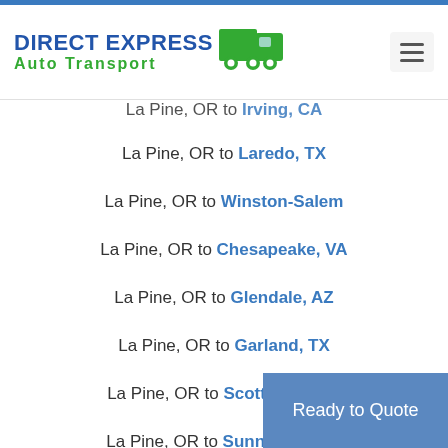DIRECT EXPRESS Auto Transport
La Pine, OR to Irving, CA (partial, cut off)
La Pine, OR to Laredo, TX
La Pine, OR to Winston-Salem
La Pine, OR to Chesapeake, VA
La Pine, OR to Glendale, AZ
La Pine, OR to Garland, TX
La Pine, OR to Scottsdale, AZ
La Pine, OR to Sunnyvale, CA
La Pine, OR to Pomona, CA
La Pine, OR to Norfolk, VA (partial)
Ready to Quote